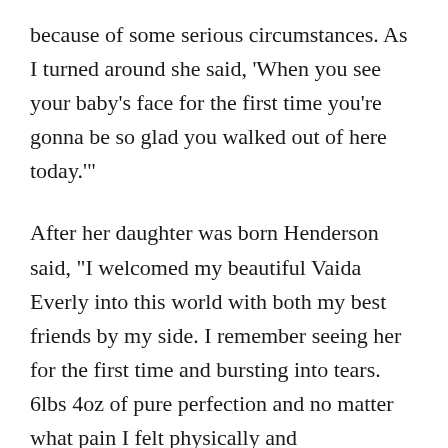because of some serious circumstances. As I turned around she said, 'When you see your baby's face for the first time you're gonna be so glad you walked out of here today.'
After her daughter was born Henderson said, "I welcomed my beautiful Vaida Everly into this world with both my best friends by my side. I remember seeing her for the first time and bursting into tears. 6lbs 4oz of pure perfection and no matter what pain I felt physically and emotionally... She gave me a feeling of joy that I can't even explain. A kind of joy that if a war was going on outside I wouldn't even know it. I am so in love. My once tiny 6lb baby is now